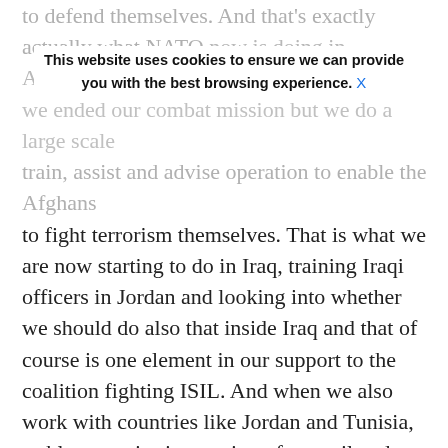to defend themselves. And that's exactly actually what NATO is now starting in Afghanistan with the Afghans where we ended our combat mission but we do a large scale train, assist and advise operation to enable the Afghans to fight terrorism themselves. That is what we are now starting to do in Iraq, training Iraqi officers in Jordan and looking into whether we should do also that inside Iraq and that of course is one element in our support to the coalition fighting ISIL. And when we also work with countries like Jordan and Tunisia, stable countries in a region of turmoil and violence, I think that's extremely important to help them now, to help them to maintain the strength and stability to be able to fight ISIL. So for instance we have started to work with Tunisia on special operation forces, on intelligence, that's also part of our efforts to fight ISIL and to fight terrorism. And, and we are also looking into the question of AWACS. It has been some, some dialogue on what kind of needs that there, that the coalition, what kind of support the coalition needs but we have a good dialogue both with
This website uses cookies to ensure we can provide you with the best browsing experience. X